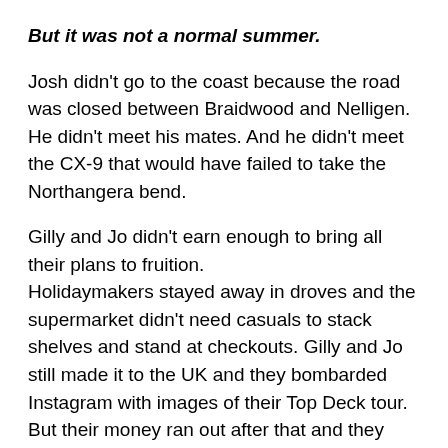But it was not a normal summer.
Josh didn't go to the coast because the road was closed between Braidwood and Nelligen.
He didn't meet his mates. And he didn't meet the CX-9 that would have failed to take the Northangera bend.
Gilly and Jo didn't earn enough to bring all their plans to fruition.
Holidaymakers stayed away in droves and the supermarket didn't need casuals to stack shelves and stand at checkouts. Gilly and Jo still made it to the UK and they bombarded Instagram with images of their Top Deck tour. But their money ran out after that and they came straight home. They didn't get to New York, and Gilly didn't meet Jack after the concert at the Julliard School. The two aspiring trombonists never jammed together; never toured